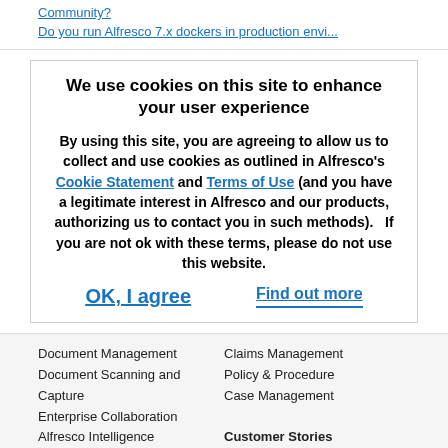Community?
Do you run Alfresco 7.x dockers in production envi...
We use cookies on this site to enhance your user experience
By using this site, you are agreeing to allow us to collect and use cookies as outlined in Alfresco's Cookie Statement and Terms of Use (and you have a legitimate interest in Alfresco and our products, authorizing us to contact you in such methods).   If you are not ok with these terms, please do not use this website.
OK, I agree
Find out more
Document Management
Document Scanning and Capture
Enterprise Collaboration
Alfresco Intelligence Services (AI)
Business Intelligence
Claims Management
Policy & Procedure
Case Management
Customer Stories